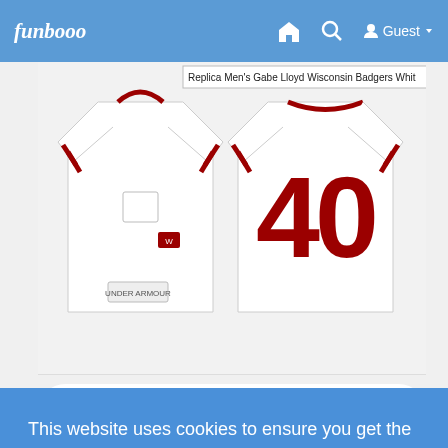funbooo  [home icon]  [search icon]  Guest
[Figure (photo): White Wisconsin Badgers football jersey with red number 40, shown from front and back. Tooltip overlay reads: Replica Men's Gabe Lloyd Wisconsin Badgers Whit]
[Figure (screenshot): Action bar with like (thumbs up), comment (speech bubble), and share icons]
Write a comment and press enter
This website uses cookies to ensure you get the best experience on our website.
Learn More
Got It!